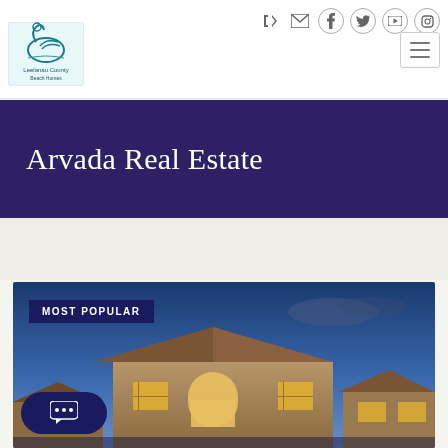[Figure (logo): Leelanau County Beach Homes swan/bird logo in teal]
Social icons: login, email, Facebook, Twitter, YouTube, Instagram; hamburger menu button
Arvada Real Estate
[Figure (photo): Luxury residential home exterior at dusk with warm interior lights, blue evening sky]
MOST POPULAR